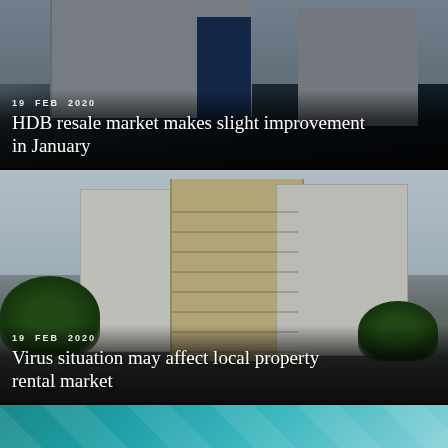[Figure (photo): Tall HDB residential high-rise building photographed from below against sky, dark-toned news article card]
19  FEB  2020
HDB resale market makes slight improvement in January
[Figure (photo): Low-rise HDB block with yellow-and-white facade, surrounded by trees, photographed in daylight]
19  FEB  2020
Virus situation may affect local property rental market
[Figure (photo): Partial view of a teal/cyan geometric pattern or architectural detail]